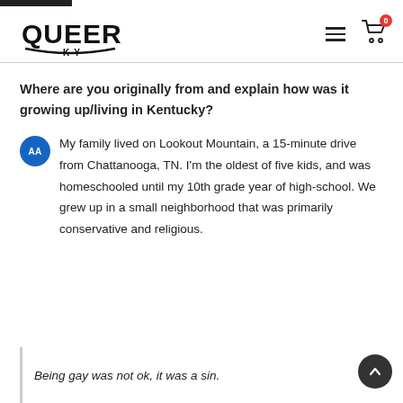[Figure (logo): Queer KY logo in stylized hand-lettered font]
Where are you originally from and explain how was it growing up/living in Kentucky?
My family lived on Lookout Mountain, a 15-minute drive from Chattanooga, TN. I'm the oldest of five kids, and was homeschooled until my 10th grade year of high-school. We grew up in a small neighborhood that was primarily conservative and religious.
Being gay was not ok, it was a sin.